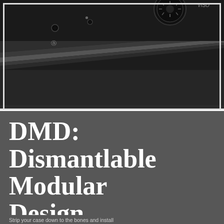[Figure (photo): Close-up photograph of a black electronic device top panel showing audio ports (headphone jack, microphone jack), a circular dial/knob, and textured matte black surface with a diagonal metallic ridge.]
DMD: Dismantlable Modular Design
Strip your case down to the bones and install